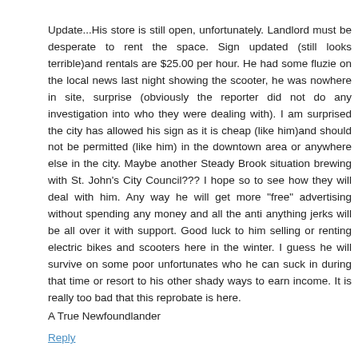Update...His store is still open, unfortunately. Landlord must be desperate to rent the space. Sign updated (still looks terrible)and rentals are $25.00 per hour. He had some fluzie on the local news last night showing the scooter, he was nowhere in site, surprise (obviously the reporter did not do any investigation into who they were dealing with). I am surprised the city has allowed his sign as it is cheap (like him)and should not be permitted (like him) in the downtown area or anywhere else in the city. Maybe another Steady Brook situation brewing with St. John's City Council??? I hope so to see how they will deal with him. Any way he will get more "free" advertising without spending any money and all the anti anything jerks will be all over it with support. Good luck to him selling or renting electric bikes and scooters here in the winter. I guess he will survive on some poor unfortunates who he can suck in during that time or resort to his other shady ways to earn income. It is really too bad that this reprobate is here.
A True Newfoundlander
Reply